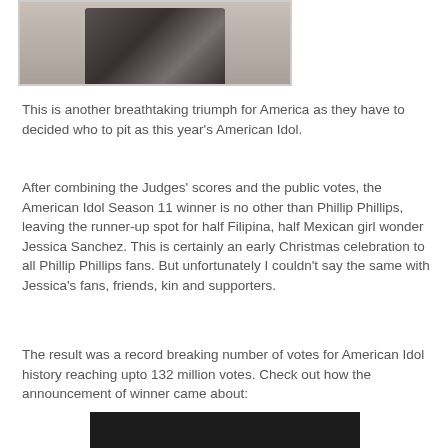[Figure (photo): Partial photo of a person wearing a black and white plaid/checkered shirt, cropped at the top of the page]
This is another breathtaking triumph for America as they have to decided who to pit as this year’s American Idol.
After combining the Judges' scores and the public votes, the American Idol Season 11 winner is no other than Phillip Phillips, leaving the runner-up spot for half Filipina, half Mexican girl wonder Jessica Sanchez. This is certainly an early Christmas celebration to all Phillip Phillips fans. But unfortunately I couldn't say the same with Jessica's fans, friends, kin and supporters.
The result was a record breaking number of votes for American Idol history reaching upto 132 million votes. Check out how the announcement of winner came about:
[Figure (screenshot): Black video player block at the bottom of the page]